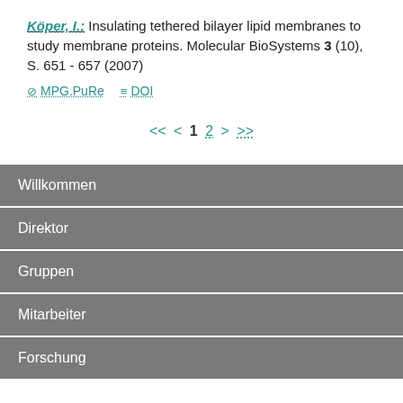Köper, I.: Insulating tethered bilayer lipid membranes to study membrane proteins. Molecular BioSystems 3 (10), S. 651 - 657 (2007)
⊘ MPG.PuRe  ≡ DOI
<< < 1 2 > >>
Willkommen
Direktor
Gruppen
Mitarbeiter
Forschung